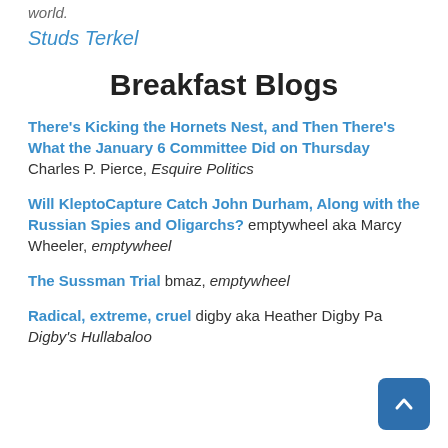world.
Studs Terkel
Breakfast Blogs
There's Kicking the Hornets Nest, and Then There's What the January 6 Committee Did on Thursday — Charles P. Pierce, Esquire Politics
Will KleptoCapture Catch John Durham, Along with the Russian Spies and Oligarchs? emptywheel aka Marcy Wheeler, emptywheel
The Sussman Trial bmaz, emptywheel
Radical, extreme, cruel digby aka Heather Digby Pa... Digby's Hullabaloo